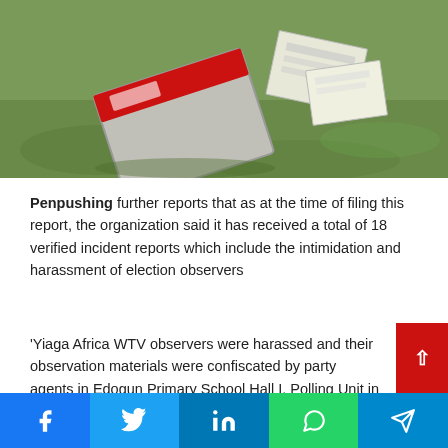[Figure (photo): Photograph of overturned election materials box with papers scattered on grass]
Penpushing further reports that as at the time of filing this report, the organization said it has received a total of 18 verified incident reports which include the intimidation and harassment of election observers
'Yiaga Africa WTV observers were harassed and their observation materials were confiscated by party agents in Edogun Primary School Hall I, Polling Unit in Orhionmwon LGA and Ozolua Grammar School, Polling Unit 009 of Ward 10 in Ikpoba/Okha LGA'.